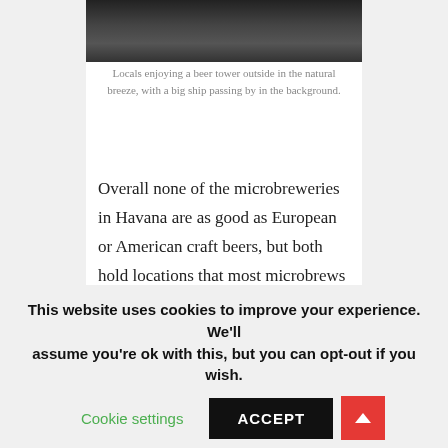[Figure (photo): Dark photograph showing locals outside, cropped at top of page]
Locals enjoying a beer tower outside in the natural breeze, with a big ship passing by in the background.
Overall none of the microbreweries in Havana are as good as European or American craft beers, but both hold locations that most microbrews can just dream of. I visited Cerveceria Antiguo Almacen de la Madera y El Tabaco most during my visit to Havana, not because of the beer, but rather the relaxing location.
This website uses cookies to improve your experience. We'll assume you're ok with this, but you can opt-out if you wish.
Cookie settings    ACCEPT